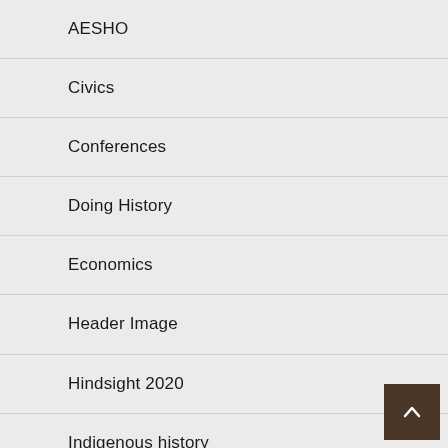AESHO
Civics
Conferences
Doing History
Economics
Header Image
Hindsight 2020
Indigenous history